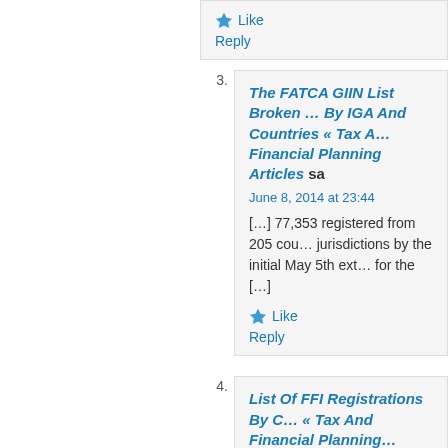Like
Reply
The FATCA GIIN List Broken … By IGA And Countries « Tax A… Financial Planning Articles said
June 8, 2014 at 23:44
[…] 77,353 registered from 205 countries/jurisdictions by the initial May 5th ext… for the […]
Like
Reply
List Of FFI Registrations By C… « Tax And Financial Planning… said
June 16, 2014 at 04:25
[…] is a selection of the 77,353 regis…